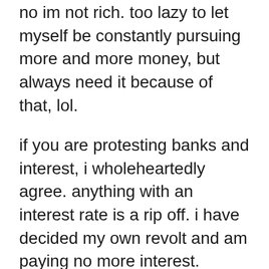no im not rich. too lazy to let myself be constantly pursuing more and more money, but always need it because of that, lol.
if you are protesting banks and interest, i wholeheartedly agree. anything with an interest rate is a rip off. i have decided my own revolt and am paying no more interest. period. bcse if you think about it for a moment – what you earn and what you pay just in interest, your pretty much working for the bank. but if you have no interest, you can live quite comfortably. maybe not rich, but pretty comfortable